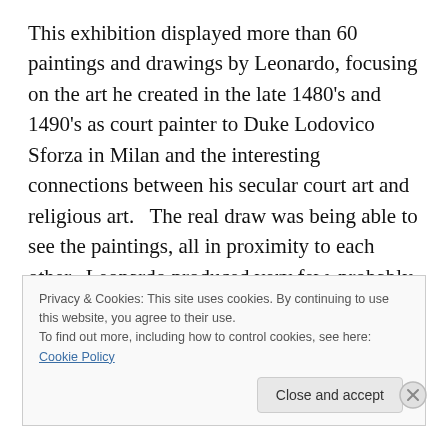This exhibition displayed more than 60 paintings and drawings by Leonardo, focusing on the art he created in the late 1480's and 1490's as court painter to Duke Lodovico Sforza in Milan and the interesting connections between his secular court art and religious art.   The real draw was being able to see the paintings, all in proximity to each other.  Leonardo produced very few, probably 20, around which some scholaraly debate still continues, and the 9 that were in the National Gallery exhibition were all from his years in Milan.   The National Gallery's newly-
Privacy & Cookies: This site uses cookies. By continuing to use this website, you agree to their use.
To find out more, including how to control cookies, see here: Cookie Policy
Close and accept